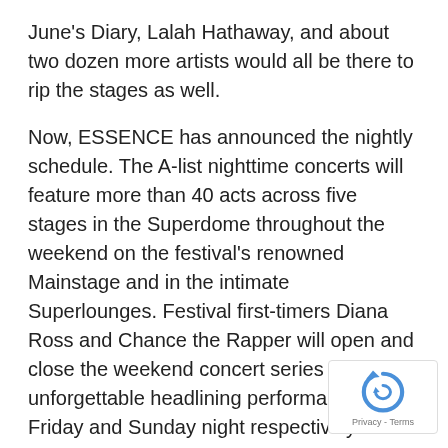June's Diary, Lalah Hathaway, and about two dozen more artists would all be there to rip the stages as well.
Now, ESSENCE has announced the nightly schedule. The A-list nighttime concerts will feature more than 40 acts across five stages in the Superdome throughout the weekend on the festival's renowned Mainstage and in the intimate Superlounges. Festival first-timers Diana Ross and Chance the Rapper will open and close the weekend concert series with unforgettable headlining performances on Friday and Sunday night respectively – along with a special all-female Saturday night lineup, inspired by headliner Mary J. Blige's forthcoming album Strength of A Woman.
[Figure (other): reCAPTCHA badge with spinning arrow logo and Privacy - Terms text]